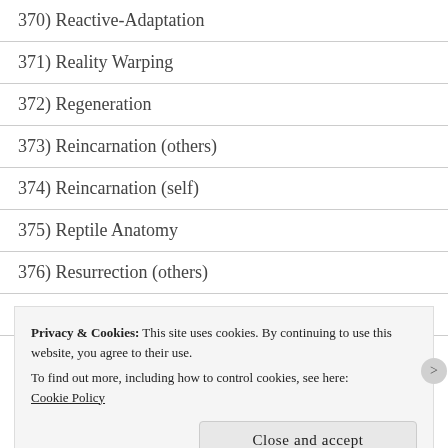370) Reactive-Adaptation
371) Reality Warping
372) Regeneration
373) Reincarnation (others)
374) Reincarnation (self)
375) Reptile Anatomy
376) Resurrection (others)
377) Resurrection (self)
378) Rhino Anatomy
Privacy & Cookies: This site uses cookies. By continuing to use this website, you agree to their use.
To find out more, including how to control cookies, see here: Cookie Policy